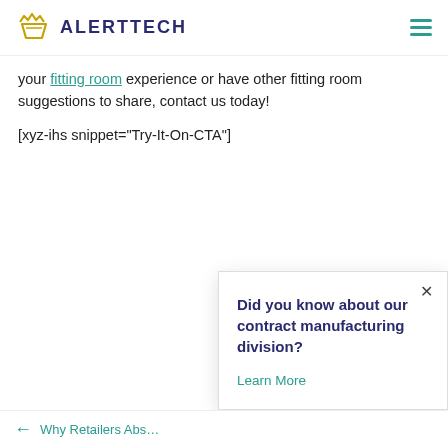ALERTTECH
your fitting room experience or have other fitting room suggestions to share, contact us today!
[xyz-ihs snippet="Try-It-On-CTA"]
Did you know about our contract manufacturing division?
Learn More
← Why Retailers Abs...